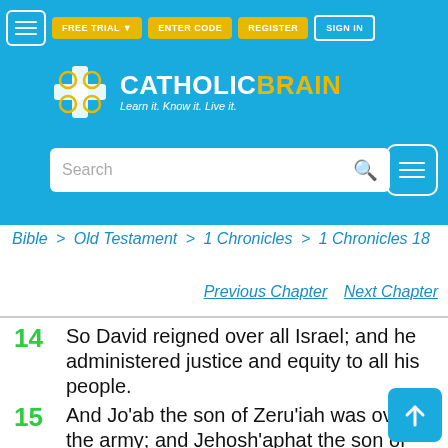[Figure (logo): CatholicBrain logo with cross/brain icon and tagline 'Learn it. Know it. Live it.']
FREE TRIAL | ENTER CODE | REGISTER | SIGN IN
Bible > Old Testament > 1 Chronicles > 1 Chronicles 18
Previous Chapter   Next Chapter
14 So David reigned over all Israel; and he administered justice and equity to all his people.
15 And Jo'ab the son of Zeru'iah was over the army; and Jehosh'aphat the son of Ahi'lud was recorder;
16 and Zadok the son of Ahi'tub and